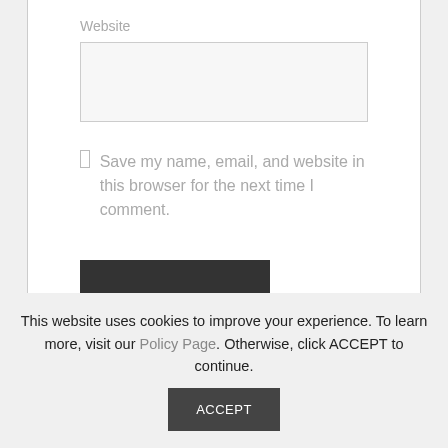Website
Save my name, email, and website in this browser for the next time I comment.
Post Comment
This website uses cookies to improve your experience. To learn more, visit our Policy Page. Otherwise, click ACCEPT to continue.
ACCEPT